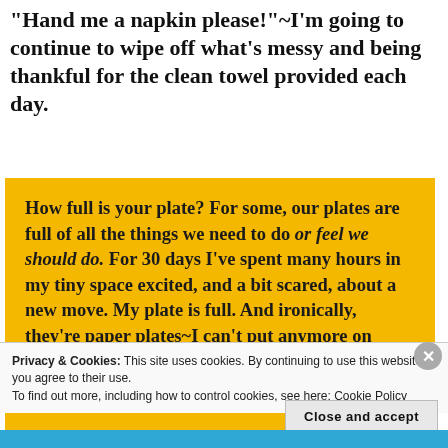"Hand me a napkin please!"~I'm going to continue to wipe off what's messy and being thankful for the clean towel provided each day.
How full is your plate? For some, our plates are full of all the things we need to do or feel we should do. For 30 days I've spent many hours in my tiny space excited, and a bit scared, about a new move. My plate is full. And ironically, they're paper plates~I can't put anymore on
Privacy & Cookies: This site uses cookies. By continuing to use this website, you agree to their use.
To find out more, including how to control cookies, see here: Cookie Policy
Close and accept